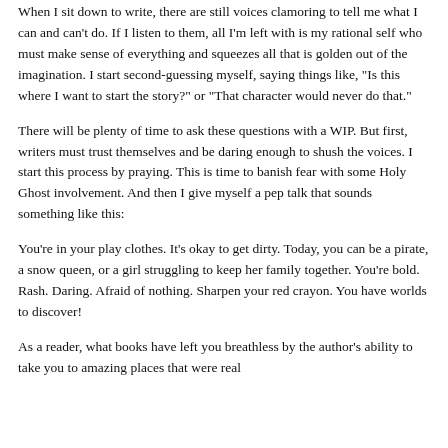When I sit down to write, there are still voices clamoring to tell me what I can and can't do. If I listen to them, all I'm left with is my rational self who must make sense of everything and squeezes all that is golden out of the imagination. I start second-guessing myself, saying things like, "Is this where I want to start the story?" or "That character would never do that."
There will be plenty of time to ask these questions with a WIP. But first, writers must trust themselves and be daring enough to shush the voices. I start this process by praying. This is time to banish fear with some Holy Ghost involvement. And then I give myself a pep talk that sounds something like this:
You're in your play clothes. It's okay to get dirty. Today, you can be a pirate, a snow queen, or a girl struggling to keep her family together. You're bold. Rash. Daring. Afraid of nothing. Sharpen your red crayon. You have worlds to discover!
As a reader, what books have left you breathless by the author's ability to take you to amazing places that were real...